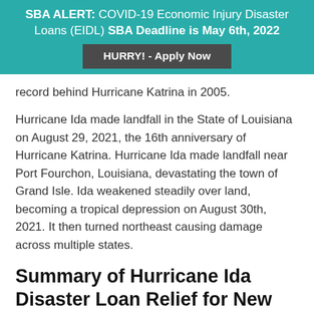SBA ALERT: COVID-19 Economic Injury Disaster Loans (EIDL) SBA Deadline is May 6th, 2022
HURRY! - Apply Now
record behind Hurricane Katrina in 2005.
Hurricane Ida made landfall in the State of Louisiana on August 29, 2021, the 16th anniversary of Hurricane Katrina. Hurricane Ida made landfall near Port Fourchon, Louisiana, devastating the town of Grand Isle. Ida weakened steadily over land, becoming a tropical depression on August 30th, 2021. It then turned northeast causing damage across multiple states.
Summary of Hurricane Ida Disaster Loan Relief for New York County NY